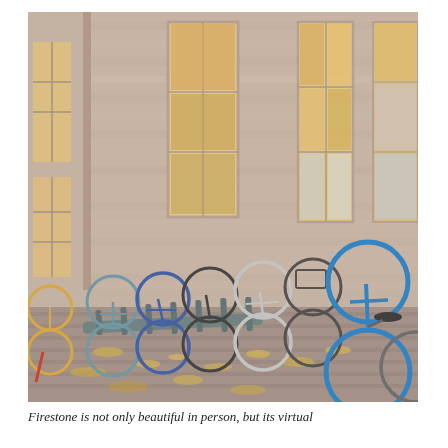[Figure (photo): Photograph of bicycles parked in a metal bike rack in front of a stone building (Firestone Library). The building has tall arched and rectangular windows with warm interior lighting visible. The ground is cobblestone with fallen autumn leaves. A bright blue bicycle is prominently visible in the foreground right.]
Firestone is not only beautiful in person, but its virtual